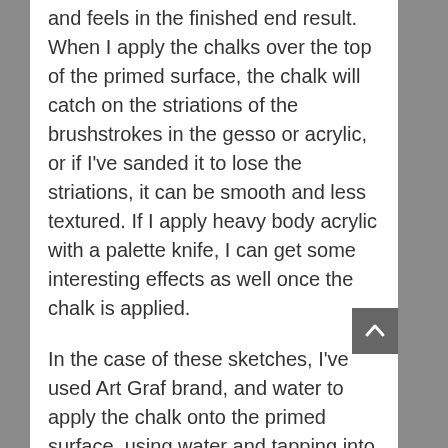and feels in the finished end result. When I apply the chalks over the top of the primed surface, the chalk will catch on the striations of the brushstrokes in the gesso or acrylic, or if I've sanded it to lose the striations, it can be smooth and less textured. If I apply heavy body acrylic with a palette knife, I can get some interesting effects as well once the chalk is applied.
In the case of these sketches, I've used Art Graf brand, and water to apply the chalk onto the primed surface, using water and tapping into the blocks similarly to watercolor blocks. These chalk/graphite blocks are really rich and can be used very opaquely. In this article, I'm sticking to black and white and grayscale graphite, but their colors are very rich and velvety too. I